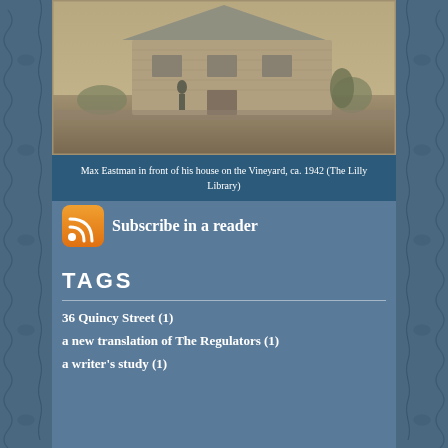[Figure (photo): Sepia-toned photograph of Max Eastman standing in front of his house on the Vineyard, circa 1942. A small house with shingle siding is visible behind him on a grassy hill.]
Max Eastman in front of his house on the Vineyard, ca. 1942 (The Lilly Library)
[Figure (logo): RSS feed icon — orange rounded square with white WiFi-style signal waves]
Subscribe in a reader
TAGS
36 Quincy Street (1)
a new translation of The Regulators (1)
a writer's study (1)